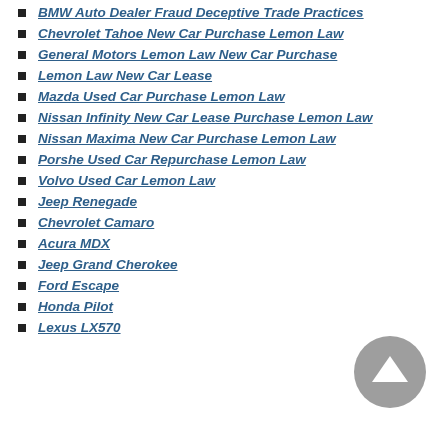BMW Auto Dealer Fraud Deceptive Trade Practices
Chevrolet Tahoe New Car Purchase Lemon Law
General Motors Lemon Law New Car Purchase
Lemon Law New Car Lease
Mazda Used Car Purchase Lemon Law
Nissan Infinity New Car Lease Purchase Lemon Law
Nissan Maxima New Car Purchase Lemon Law
Porshe Used Car Repurchase Lemon Law
Volvo Used Car Lemon Law
Jeep Renegade
Chevrolet Camaro
Acura MDX
Jeep Grand Cherokee
Ford Escape
Honda Pilot
Lexus LX570